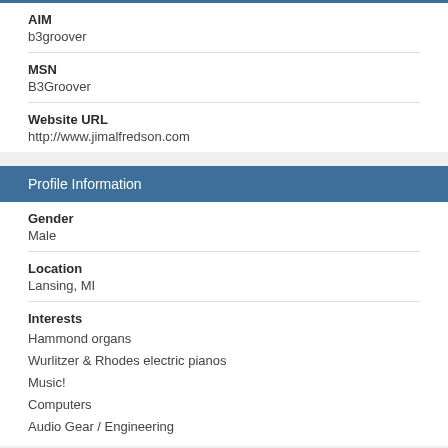AIM
b3groover
MSN
B3Groover
Website URL
http://www.jimalfredson.com
Profile Information
Gender
Male
Location
Lansing, MI
Interests
Hammond organs
Wurlitzer & Rhodes electric pianos
Music!
Computers
Audio Gear / Engineering